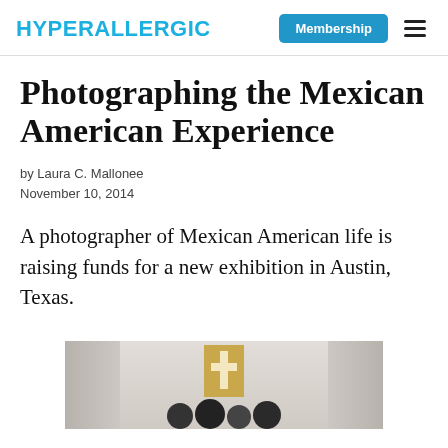HYPERALLERGIC
Photographing the Mexican American Experience
by Laura C. Mallonee
November 10, 2014
A photographer of Mexican American life is raising funds for a new exhibition in Austin, Texas.
[Figure (photo): A photograph showing what appears to be a religious scene with a golden cross on a draped white/grey background, with silhouettes of people visible at the bottom of the image.]